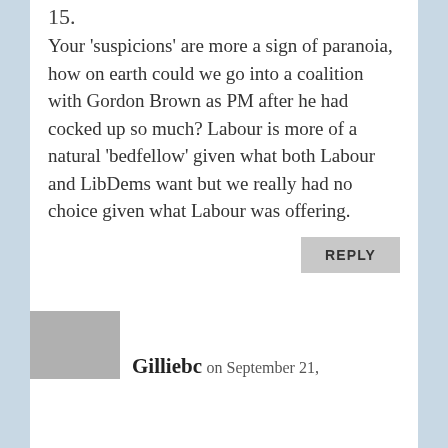15.
Your 'suspicions' are more a sign of paranoia, how on earth could we go into a coalition with Gordon Brown as PM after he had cocked up so much? Labour is more of a natural 'bedfellow' given what both Labour and LibDems want but we really had no choice given what Labour was offering.
REPLY
Gilliebc on September 21,